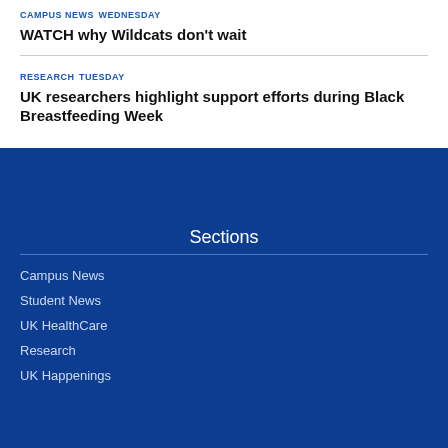CAMPUS NEWS Wednesday
WATCH why Wildcats don't wait
RESEARCH Tuesday
UK researchers highlight support efforts during Black Breastfeeding Week
Sections
Campus News
Student News
UK HealthCare
Research
UK Happenings